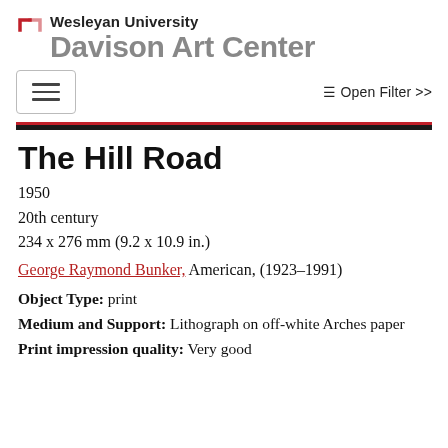Wesleyan University Davison Art Center
The Hill Road
1950
20th century
234 x 276 mm (9.2 x 10.9 in.)
George Raymond Bunker, American, (1923-1991)
Object Type: print
Medium and Support: Lithograph on off-white Arches paper
Print impression quality: Very good